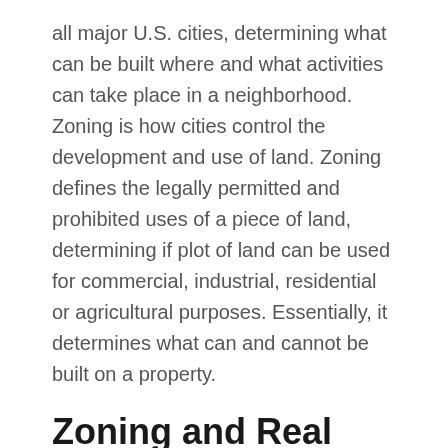all major U.S. cities, determining what can be built where and what activities can take place in a neighborhood. Zoning is how cities control the development and use of land. Zoning defines the legally permitted and prohibited uses of a piece of land, determining if plot of land can be used for commercial, industrial, residential or agricultural purposes. Essentially, it determines what can and cannot be built on a property.
Zoning and Real Estate Values
Zoning is the first stage of the home life cycle and a key influence on all other stages. Zillow has identified that zoning regulations are so important that they impact home values. Zillow Research